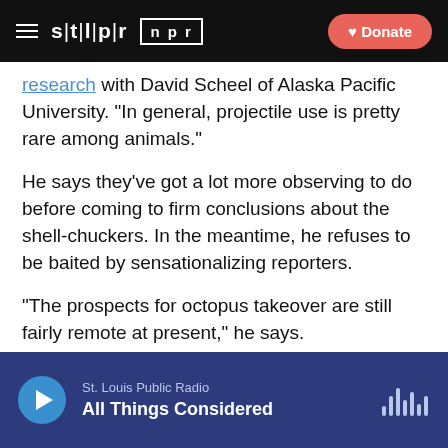stlpr | npr  [Donate]
research with David Scheel of Alaska Pacific University. "In general, projectile use is pretty rare among animals."
He says they've got a lot more observing to do before coming to firm conclusions about the shell-chuckers. In the meantime, he refuses to be baited by sensationalizing reporters.
"The prospects for octopus takeover are still fairly remote at present," he says.
Copyright 2020 NPR. To see more, visit https://www.npr.org.
St. Louis Public Radio | All Things Considered